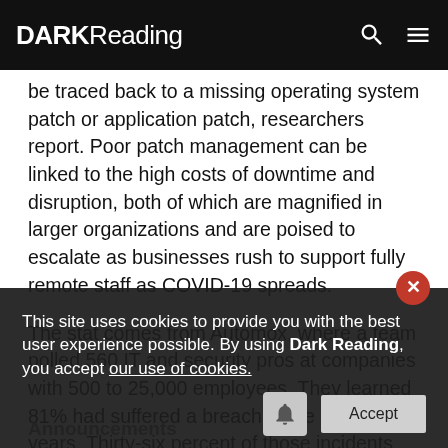DARK Reading
be traced back to a missing operating system patch or application patch, researchers report. Poor patch management can be linked to the high costs of downtime and disruption, both of which are magnified in larger organizations and are poised to escalate as businesses rush to support fully remote staff as COVID-19 spreads.
The stat comes from Automox, where a team polled 560 IT and security pros at companies with 500 to 25,000 employees. They learned 81% had suffered a breach in the past two years. Thirty-six percent of those incidents stemmed from a phishing attack, which was the most common root cause, followed by missing OS patch (30%), missing application patch (28%), OS
This site uses cookies to provide you with the best user experience possible. By using Dark Reading, you accept our use of cookies.
Announcements